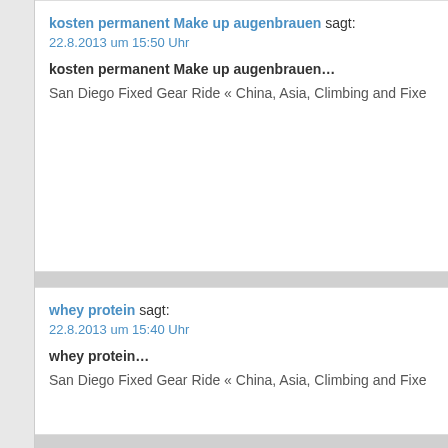kosten permanent Make up augenbrauen sagt:
22.8.2013 um 15:50 Uhr

kosten permanent Make up augenbrauen...

San Diego Fixed Gear Ride « China, Asia, Climbing and Fixe
whey protein sagt:
22.8.2013 um 15:40 Uhr

whey protein...

San Diego Fixed Gear Ride « China, Asia, Climbing and Fixe
kenwood küchenwaage sagt:
22.8.2013 um 15:32 Uhr

kenwood küchenwaage...

San Diego Fixed Gear Ride « China, Asia, Climbing and Fixe
www.rwe-wiki.de sagt:
22.8.2013 um 08:49 Uhr

http://www.rwe-wiki.de...

San Diego Fixed Gear Ride « China, Asia, Climbing and